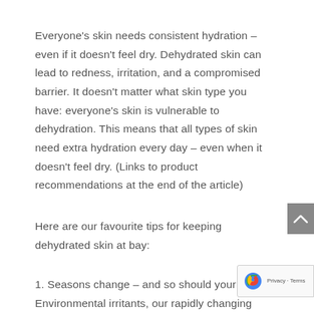Everyone's skin needs consistent hydration – even if it doesn't feel dry. Dehydrated skin can lead to redness, irritation, and a compromised barrier. It doesn't matter what skin type you have: everyone's skin is vulnerable to dehydration. This means that all types of skin need extra hydration every day – even when it doesn't feel dry. (Links to product recommendations at the end of the article)
Here are our favourite tips for keeping dehydrated skin at bay:
1. Seasons change – and so should your rout Environmental irritants, our rapidly changing...